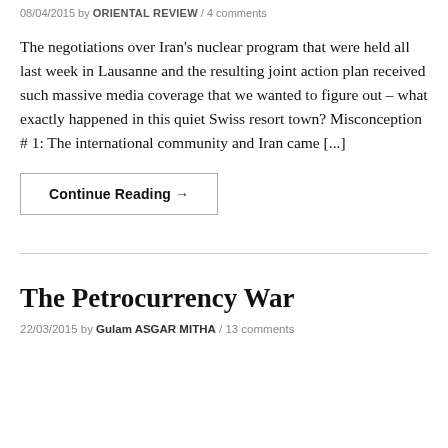08/04/2015 by ORIENTAL REVIEW / 4 comments
The negotiations over Iran's nuclear program that were held all last week in Lausanne and the resulting joint action plan received such massive media coverage that we wanted to figure out – what exactly happened in this quiet Swiss resort town? Misconception # 1: The international community and Iran came [...]
Continue Reading →
The Petrocurrency War
22/03/2015 by Gulam ASGAR MITHA / 13 comments